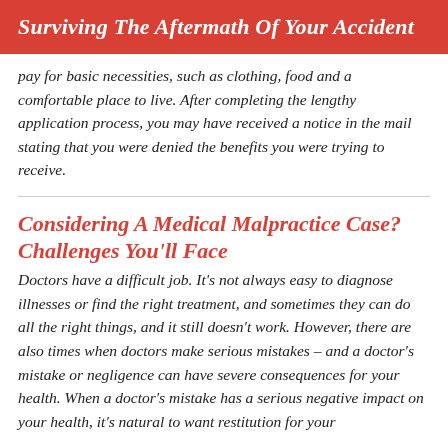Surviving The Aftermath Of Your Accident
pay for basic necessities, such as clothing, food and a comfortable place to live. After completing the lengthy application process, you may have received a notice in the mail stating that you were denied the benefits you were trying to receive.
Considering A Medical Malpractice Case? Challenges You'll Face
Doctors have a difficult job. It's not always easy to diagnose illnesses or find the right treatment, and sometimes they can do all the right things, and it still doesn't work. However, there are also times when doctors make serious mistakes – and a doctor's mistake or negligence can have severe consequences for your health. When a doctor's mistake has a serious negative impact on your health, it's natural to want restitution for your